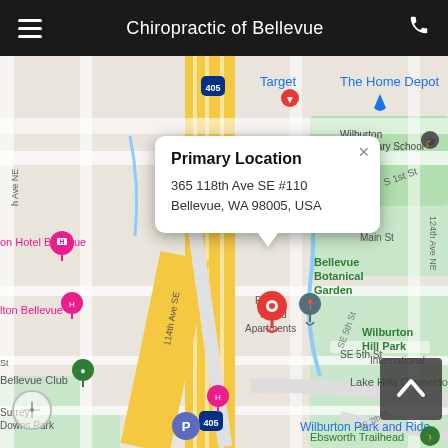Chiropractic of Bellevue
[Figure (map): Google Maps screenshot showing Bellevue, WA area with highway 405, landmarks including Target, The Home Depot, Wilburton Elementary School, Bellevue Botanical Garden, Wilburton Hill Park, Park Island Apartments, Bellevue Club, Surrey Downs Park, Wilburton Park and Ride, Ebsworth Trailhead, Lake Hills Connector, and a red location pin marking the primary location. A popup card shows the primary location details.]
Primary Location
365 118th Ave SE #110
Bellevue, WA 98005, USA